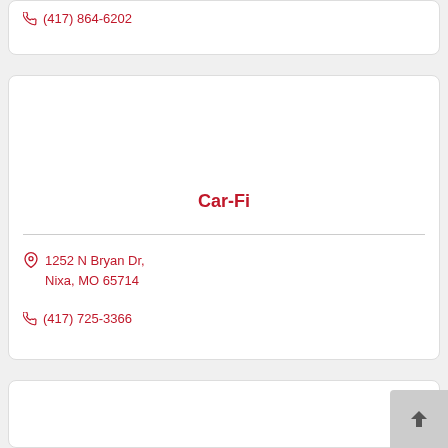(417) 864-6202
Car-Fi
1252 N Bryan Dr, Nixa, MO 65714
(417) 725-3366